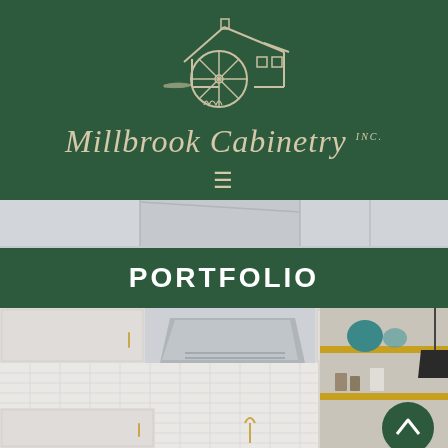[Figure (logo): Millbrook Cabinetry Inc. logo — white line-art of a mill building with a large water wheel, on a dark green background. Below the illustration is the text 'Millbrook Cabinetry' in serif italic script and 'INC.' in small caps superscript. A hamburger menu icon (three horizontal lines) appears below the brand name.]
[Figure (photo): Narrow horizontal strip showing the top portion of a kitchen interior — upper cabinets in light gray/white, a range hood, and ceiling.]
PORTFOLIO
[Figure (photo): Photo of a modern kitchen interior featuring white shaker-style cabinets with gold/brass hardware, a stainless steel range hood, white subway tile backsplash, open wooden shelves on the right holding teal decorative items, a pendant light on the far right, and a gold faucet at the sink. A circular dark green scroll-to-top button is visible in the lower right corner.]